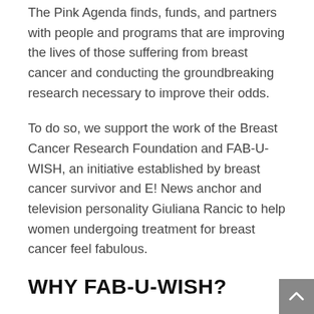The Pink Agenda finds, funds, and partners with people and programs that are improving the lives of those suffering from breast cancer and conducting the groundbreaking research necessary to improve their odds.
To do so, we support the work of the Breast Cancer Research Foundation and FAB-U-WISH, an initiative established by breast cancer survivor and E! News anchor and television personality Giuliana Rancic to help women undergoing treatment for breast cancer feel fabulous.
WHY FAB-U-WISH?
There were many factors that helped Giuliana during her struggle to conceive and the resulting pre-IVF mammogram that revealed she had early-stage breast